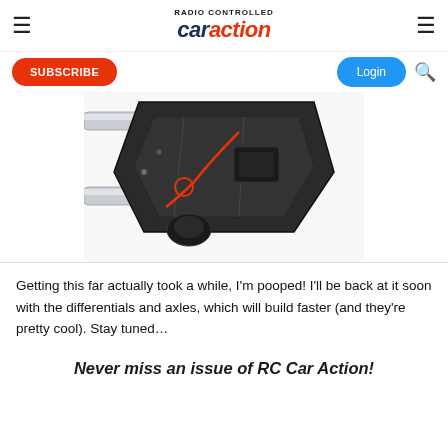RC Car Action - navigation header with logo, subscribe button, login button, and search icon
[Figure (photo): Close-up photo of an RC car chassis component showing black mechanical parts including what appears to be a steering assembly on a silver rail, with a red wire/spring visible.]
Getting this far actually took a while, I'm pooped! I'll be back at it soon with the differentials and axles, which will build faster (and they're pretty cool). Stay tuned…
Never miss an issue of RC Car Action!